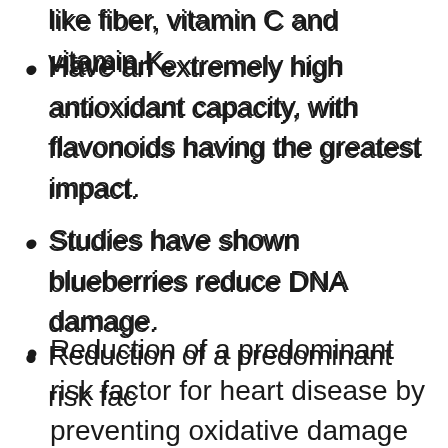like fiber, vitamin C and vitamin K.
Have an extremely high antioxidant capacity, with flavonoids having the greatest impact.
Studies have shown blueberries reduce DNA damage.
Reduction of a predominant risk factor for heart disease by preventing oxidative damage to “bad” LDL cholesterol.
Blueberry intake has been tied to lower blood pressure.
Rich in anthocyanins, which has been